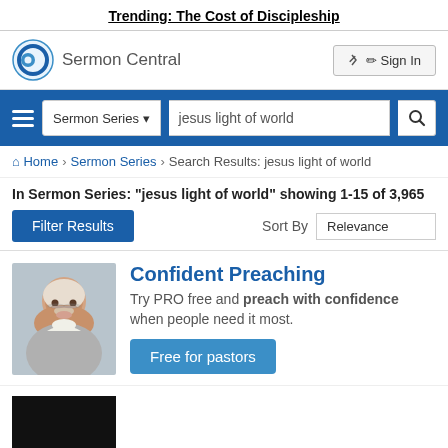Trending: The Cost of Discipleship
[Figure (logo): Sermon Central logo with circular blue icon and text 'Sermon Central']
Sign In
Sermon Series ▾  jesus light of world  [search icon]
Home > Sermon Series > Search Results: jesus light of world
In Sermon Series: "jesus light of world" showing 1-15 of 3,965
Filter Results
Sort By  Relevance
[Figure (photo): Smiling elderly bald man with white beard and glasses]
Confident Preaching
Try PRO free and preach with confidence when people need it most.
Free for pastors
[Figure (photo): Dark thumbnail image at bottom of page]